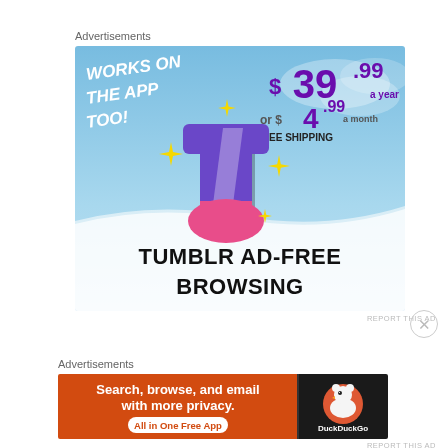Advertisements
[Figure (illustration): Tumblr Ad-Free Browsing advertisement. Blue sky background with Tumblr 't' logo, sparkles, text 'WORKS ON THE APP TOO!', price '$39.99 a year or $4.99 a month + FREE SHIPPING', and bottom text 'TUMBLR AD-FREE BROWSING']
REPORT THIS AD
Advertisements
[Figure (illustration): DuckDuckGo advertisement. Orange left panel: 'Search, browse, and email with more privacy. All in One Free App'. Dark right panel with DuckDuckGo duck logo and brand name.]
REPORT THIS AD